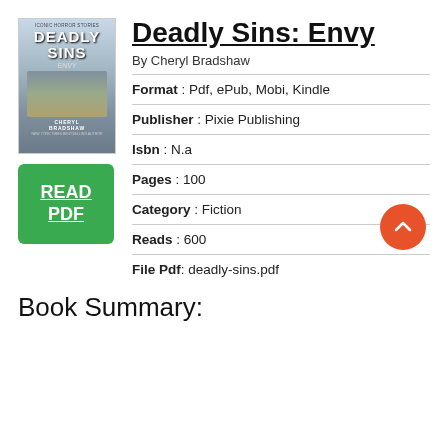[Figure (illustration): Book cover for Deadly Sins: Envy by Cheryl Bradshaw, showing title text and a landscape background image]
Deadly Sins: Envy
By Cheryl Bradshaw
[Figure (other): Green READ PDF button]
Format : Pdf, ePub, Mobi, Kindle
Publisher : Pixie Publishing
Isbn : N.a
Pages : 100
Category : Fiction
Reads : 600
File Pdf: deadly-sins.pdf
Book Summary: